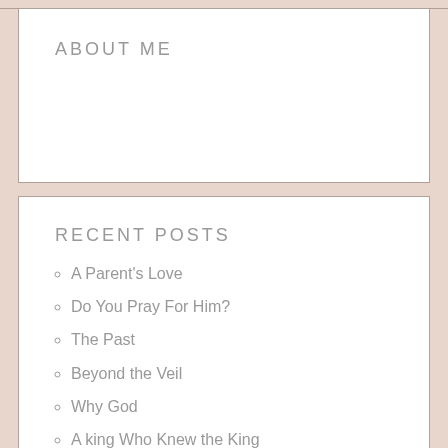ABOUT ME
RECENT POSTS
A Parent's Love
Do You Pray For Him?
The Past
Beyond the Veil
Why God
A king Who Knew the King
Comfort
Carry Each Other's Burdens
Such Were Some of (Us)